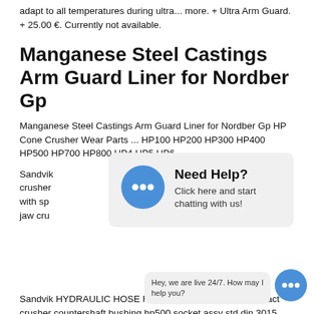adapt to all temperatures during ultra... more. + Ultra Arm Guard. + 25.00 €. Currently not available.
Manganese Steel Castings Arm Guard Liner for Nordber Gp
Manganese Steel Castings Arm Guard Liner for Nordber Gp HP Cone Crusher Wear Parts ... HP100 HP200 HP300 HP400 HP500 HP700 HP800 HP4 HP5 HP6
Sandvik [text obscured by overlay] crusher [text obscured] r mills with sp[a...] [text obscured] so jaw cru[sher...]
[Figure (infographic): Chat popup overlay with blue speech bubble icon with three dots, bold text 'Need Help?' and subtext 'Click here and start chatting with us!']
Sandvik HYDRAULIC HOSE R3/4 X 2700 tag archives impact crusher countershaft bushing hp500 socket assy std din 3015 standard pdf hp sprocket for sale
12 300 spartan helmet with plume +Muscle
[Figure (infographic): Bottom right chat widget: speech bubble with text 'Hey, we are live 24/7. How may I help you?' and blue chat icon with three dots]